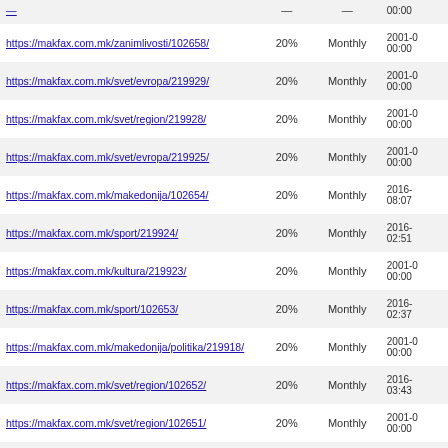| URL | Priority | Change Frequency | Last Modified |
| --- | --- | --- | --- |
| https://makfax.com.mk/zanimlivosti/102658/ | 20% | Monthly | 2001-0... 00:00 |
| https://makfax.com.mk/svet/evropa/219929/ | 20% | Monthly | 2001-0... 00:00 |
| https://makfax.com.mk/svet/region/219928/ | 20% | Monthly | 2001-0... 00:00 |
| https://makfax.com.mk/svet/evropa/219925/ | 20% | Monthly | 2001-0... 00:00 |
| https://makfax.com.mk/makedonija/102654/ | 20% | Monthly | 2016-... 08:07 |
| https://makfax.com.mk/sport/219924/ | 20% | Monthly | 2016-... 02:51 |
| https://makfax.com.mk/kultura/219923/ | 20% | Monthly | 2001-0... 00:00 |
| https://makfax.com.mk/sport/102653/ | 20% | Monthly | 2016-... 02:37 |
| https://makfax.com.mk/makedonija/politika/219918/ | 20% | Monthly | 2001-0... 00:00 |
| https://makfax.com.mk/svet/region/102652/ | 20% | Monthly | 2016-... 03:43 |
| https://makfax.com.mk/svet/region/102651/ | 20% | Monthly | 2001-0... 00:00 |
| https://makfax.com.mk/svet/219920/ | 20% | Monthly | 2016-... 08:59 |